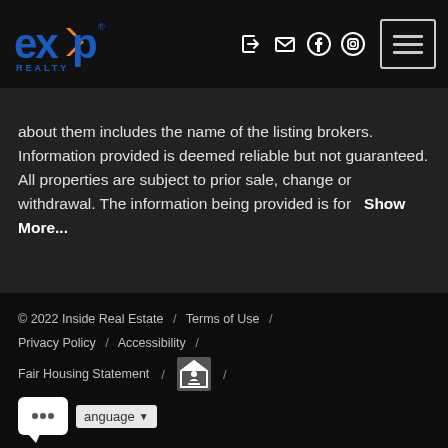[Figure (logo): eXp Realty logo with orange checkmark and blue text]
about them includes the name of the listing brokers. Information provided is deemed reliable but not guaranteed. All properties are subject to prior sale, change or withdrawal. The information being provided is for Show More...
© 2022 Inside Real Estate / Terms of Use / Privacy Policy / Accessibility / Fair Housing Statement / [Equal Housing Opportunity logo] /